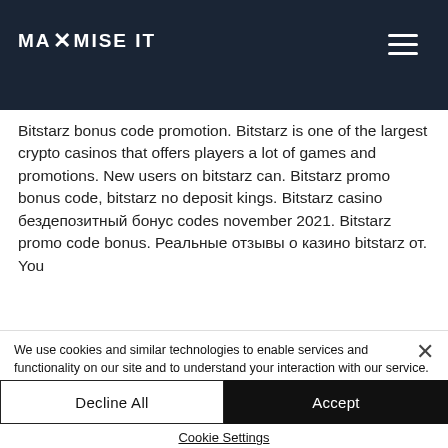MAXIMISE IT
08, olf y! Bitstarz bonus code promotion. Bitstarz is one of the largest crypto casinos that offers players a lot of games and promotions. New users on bitstarz can. Bitstarz promo bonus code, bitstarz no deposit kings. Bitstarz casino бездепозитный бонус codes november 2021. Bitstarz promo code bonus. Реальные отзывы о казино bitstarz от. You
We use cookies and similar technologies to enable services and functionality on our site and to understand your interaction with our service. By clicking on accept, you agree to our use of such technologies for marketing and analytics. See Privacy Policy
Decline All
Accept
Cookie Settings